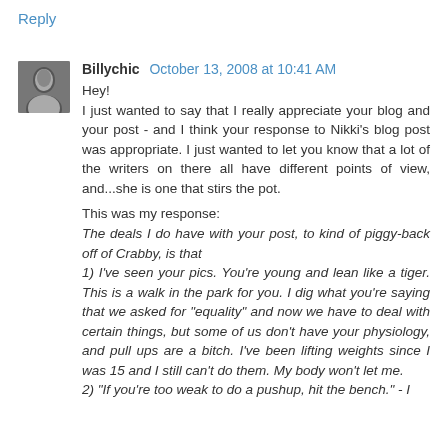Reply
[Figure (photo): Small avatar photo of a person, black and white, portrait style]
Billychic October 13, 2008 at 10:41 AM
Hey!
I just wanted to say that I really appreciate your blog and your post - and I think your response to Nikki's blog post was appropriate. I just wanted to let you know that a lot of the writers on there all have different points of view, and...she is one that stirs the pot.

This was my response:
The deals I do have with your post, to kind of piggy-back off of Crabby, is that
1) I've seen your pics. You're young and lean like a tiger. This is a walk in the park for you. I dig what you're saying that we asked for "equality" and now we have to deal with certain things, but some of us don't have your physiology, and pull ups are a bitch. I've been lifting weights since I was 15 and I still can't do them. My body won't let me.
2) "If you're too weak to do a pushup, hit the bench." - I